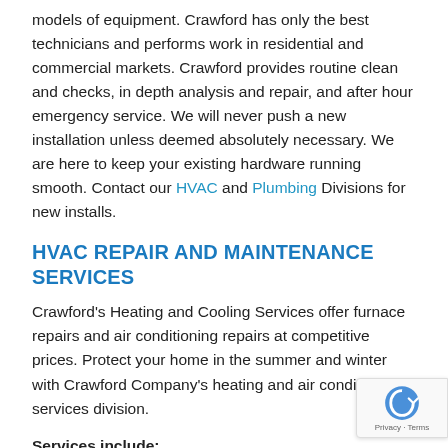models of equipment. Crawford has only the best technicians and performs work in residential and commercial markets. Crawford provides routine clean and checks, in depth analysis and repair, and after hour emergency service. We will never push a new installation unless deemed absolutely necessary. We are here to keep your existing hardware running smooth. Contact our HVAC and Plumbing Divisions for new installs.
HVAC REPAIR AND MAINTENANCE SERVICES
Crawford's Heating and Cooling Services offer furnace repairs and air conditioning repairs at competitive prices. Protect your home in the summer and winter with Crawford Company's heating and air conditioning services division.
Services include: